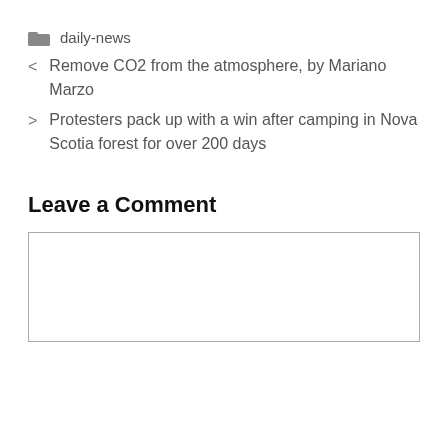daily-news
< Remove CO2 from the atmosphere, by Mariano Marzo
> Protesters pack up with a win after camping in Nova Scotia forest for over 200 days
Leave a Comment